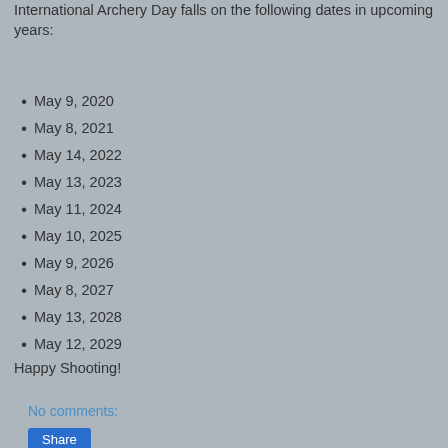International Archery Day falls on the following dates in upcoming years:
May 9, 2020
May 8, 2021
May 14, 2022
May 13, 2023
May 11, 2024
May 10, 2025
May 9, 2026
May 8, 2027
May 13, 2028
May 12, 2029
Happy Shooting!
No comments:
Share